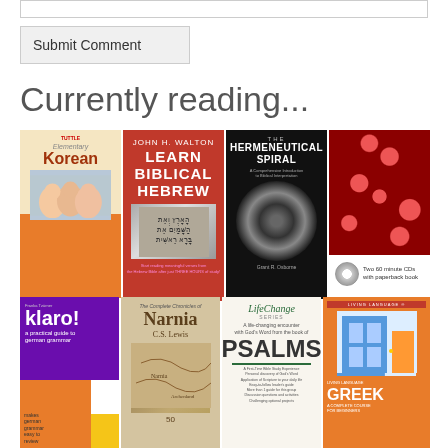Submit Comment
Currently reading...
[Figure (photo): Eight book covers arranged in two rows: Elementary Korean, Learn Biblical Hebrew, The Hermeneutical Spiral, a science book with red blood cells, klaro! a practical guide to german grammar, The Complete Chronicles of Narnia by C.S. Lewis, LifeChange PSALMS, and Living Language Greek.]